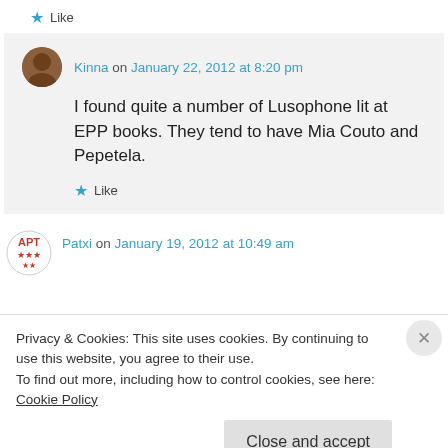Like
Kinna on January 22, 2012 at 8:20 pm
I found quite a number of Lusophone lit at EPP books. They tend to have Mia Couto and Pepetela.
Like
Patxi on January 19, 2012 at 10:49 am
Privacy & Cookies: This site uses cookies. By continuing to use this website, you agree to their use.
To find out more, including how to control cookies, see here: Cookie Policy
Close and accept